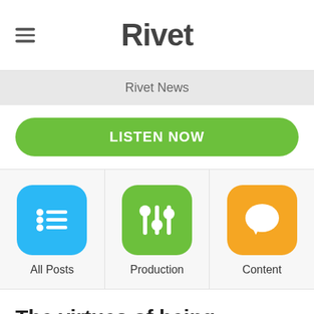Rivet
Rivet News
LISTEN NOW
[Figure (screenshot): Three category icons: All Posts (blue, list icon), Production (green, sliders icon), Content (orange, chat bubble icon)]
The virtues of being yourself
by Rob Hart | August 31, 2015